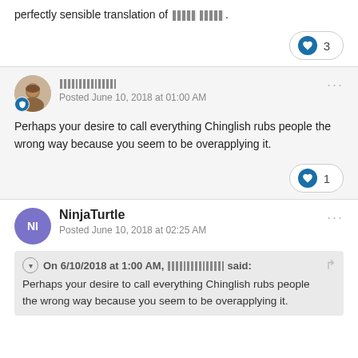perfectly sensible translation of [Chinese characters].
♥ 3
[User avatar] [Chinese username] Posted June 10, 2018 at 01:00 AM
Perhaps your desire to call everything Chinglish rubs people the wrong way because you seem to be overapplying it.
♥ 1
NinjaTurtle Posted June 10, 2018 at 02:25 AM
On 6/10/2018 at 1:00 AM, [Chinese username] said:
Perhaps your desire to call everything Chinglish rubs people the wrong way because you seem to be overapplying it.